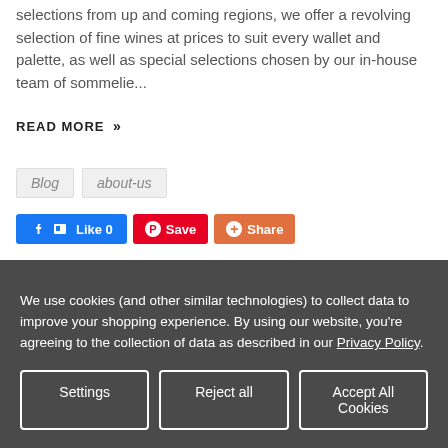selections from up and coming regions, we offer a revolving selection of fine wines at prices to suit every wallet and palette, as well as special selections chosen by our in-house team of sommelie...
READ MORE »
Blog
about-us
Like 0  Save  Share
We use cookies (and other similar technologies) to collect data to improve your shopping experience. By using our website, you're agreeing to the collection of data as described in our Privacy Policy.
Settings  Reject all  Accept All Cookies